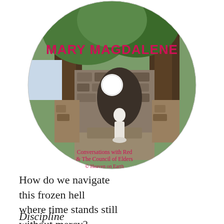[Figure (photo): A circular CD/DVD disc with a photo of a religious grotto featuring a white statue of Mary in a stone alcove surrounded by trees. Text on disc reads: MARY MAGDALENE, Conversations with Red & The Council of Elders, © Heaven on Earth, All Rights Reserved, www.heavenonearth.ca]
How do we navigate
this frozen hell
where time stands still
without mercy?
Discipline